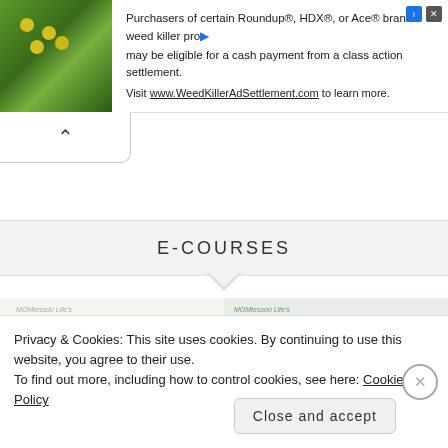[Figure (other): Advertisement banner: image of yellow flowers on green background on left, text about Roundup/HDX/Ace weed killer class action settlement on right with close/info icons]
Purchasers of certain Roundup®, HDX®, or Ace® brand weed killer products may be eligible for a cash payment from a class action settlement. Visit www.WeedKillerAdSettlement.com to learn more.
E-COURSES
[Figure (photo): MOMtessori Life's Montessori Parenting E-Course thumbnail — cursive pink title on white background above a photo of hands]
[Figure (photo): MOMtessori Life's The Prepared Environment thumbnail — cursive teal title above a photo of a green bird and dark background]
Privacy & Cookies: This site uses cookies. By continuing to use this website, you agree to their use.
To find out more, including how to control cookies, see here: Cookie Policy
Close and accept